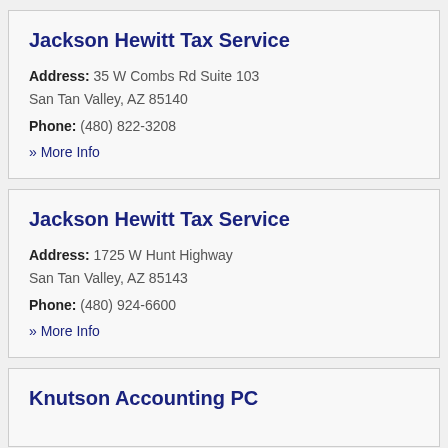Jackson Hewitt Tax Service
Address: 35 W Combs Rd Suite 103
San Tan Valley, AZ 85140
Phone: (480) 822-3208
» More Info
Jackson Hewitt Tax Service
Address: 1725 W Hunt Highway
San Tan Valley, AZ 85143
Phone: (480) 924-6600
» More Info
Knutson Accounting PC